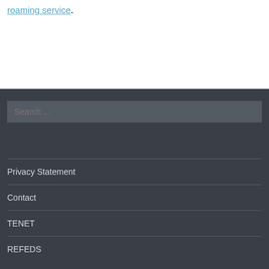roaming service.
Search ...
Privacy Statement
Contact
TENET
REFEDS